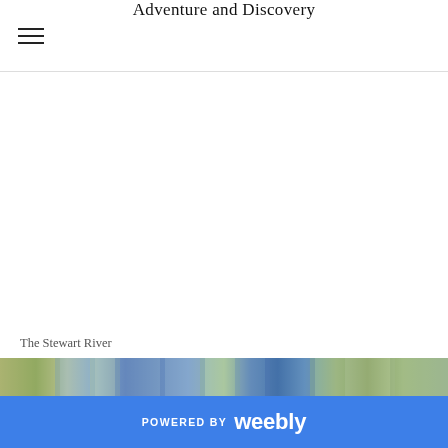Adventure and Discovery
The Stewart River
[Figure (photo): A narrow horizontal strip showing an outdoor nature scene of a river with trees and blue water, likely the Stewart River.]
POWERED BY weebly